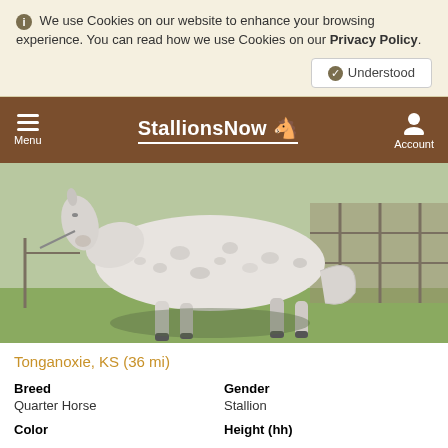We use Cookies on our website to enhance your browsing experience. You can read how we use Cookies on our Privacy Policy.
Understood
StallionsNow — Menu | Account
[Figure (photo): A white/grey speckled Quarter Horse stallion standing in profile in a paddock with green grass and metal fence panels in the background.]
Tonganoxie, KS (36 mi)
| Breed | Gender |
| --- | --- |
| Quarter Horse | Stallion |
| Color | Height (hh) |